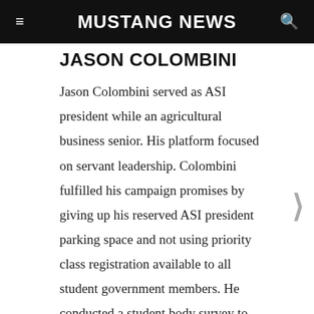MUSTANG NEWS
JASON COLOMBINI
Jason Colombini served as ASI president while an agricultural business senior. His platform focused on servant leadership. Colombini fulfilled his campaign promises by giving up his reserved ASI president parking space and not using priority class registration available to all student government members. He conducted a student body survey to decide on his goals of changing Cal Poly's alcohol and skateboarding policies. Colombini laid